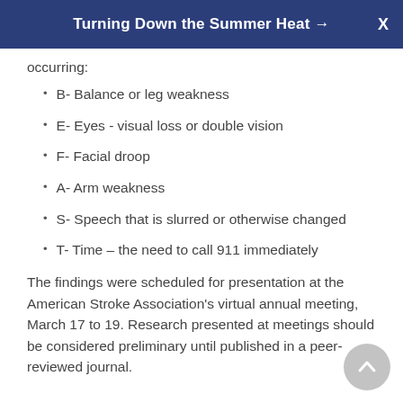Turning Down the Summer Heat →  X
occurring:
B- Balance or leg weakness
E- Eyes - visual loss or double vision
F- Facial droop
A- Arm weakness
S- Speech that is slurred or otherwise changed
T- Time – the need to call 911 immediately
The findings were scheduled for presentation at the American Stroke Association's virtual annual meeting, March 17 to 19. Research presented at meetings should be considered preliminary until published in a peer-reviewed journal.